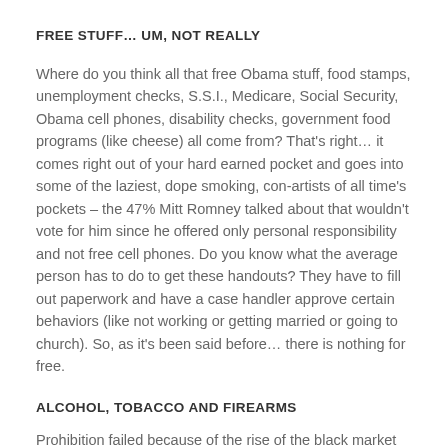FREE STUFF… UM, NOT REALLY
Where do you think all that free Obama stuff, food stamps, unemployment checks, S.S.I., Medicare, Social Security, Obama cell phones, disability checks, government food programs (like cheese) all come from? That's right… it comes right out of your hard earned pocket and goes into some of the laziest, dope smoking, con-artists of all time's pockets – the 47% Mitt Romney talked about that wouldn't vote for him since he offered only personal responsibility and not free cell phones. Do you know what the average person has to do to get these handouts? They have to fill out paperwork and have a case handler approve certain behaviors (like not working or getting married or going to church). So, as it's been said before… there is nothing for free.
ALCOHOL, TOBACCO AND FIREARMS
Prohibition failed because of the rise of the black market and gangster violence. The government then decided to create